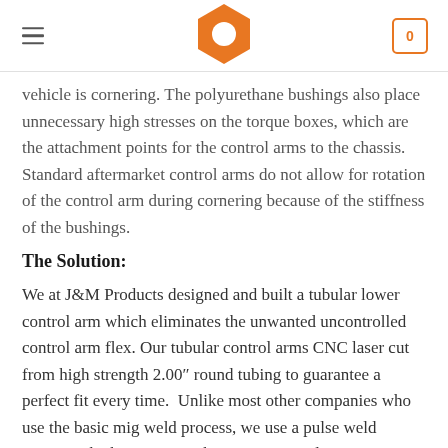Navigation header with hamburger menu, hexagon logo, and cart icon (0)
vehicle is cornering. The polyurethane bushings also place unnecessary high stresses on the torque boxes, which are the attachment points for the control arms to the chassis. Standard aftermarket control arms do not allow for rotation of the control arm during cornering because of the stiffness of the bushings.
The Solution:
We at J&M Products designed and built a tubular lower control arm which eliminates the unwanted uncontrolled control arm flex. Our tubular control arms CNC laser cut from high strength 2.00″ round tubing to guarantee a perfect fit every time.  Unlike most other companies who use the basic mig weld process, we use a pulse weld process which is stronger than conventional...